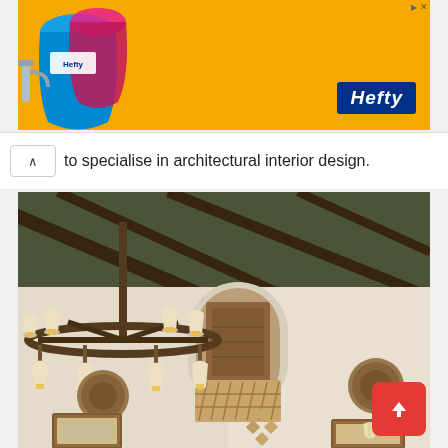[Figure (photo): Hefty brand advertisement banner with orange background, Hefty logo in blue on right, colorful product illustration on left]
to specialise in architectural interior design.
[Figure (photo): Interior room photo showing high wooden beam ceiling, large chandelier with multiple lamp shades, white arched walls with Moorish/Spanish colonial architectural details, lattice balcony railing, decorative circular wall plates, and framed mirrors]
[Figure (other): Red scroll-to-top button with upward arrow in bottom right corner]